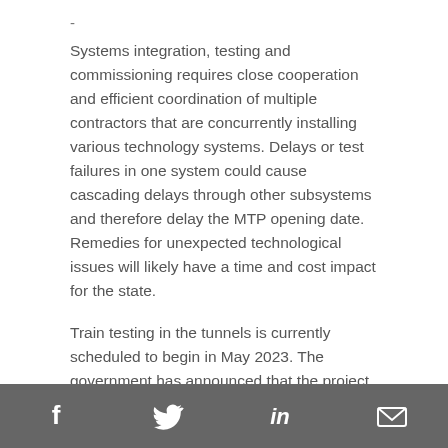-
Systems integration, testing and commissioning requires close cooperation and efficient coordination of multiple contractors that are concurrently installing various technology systems. Delays or test failures in one system could cause cascading delays through other subsystems and therefore delay the MTP opening date. Remedies for unexpected technological issues will likely have a time and cost impact for the state.
Train testing in the tunnels is currently scheduled to begin in May 2023. The government has announced that the project is opening in 2025, while the project’s internal schedule is aiming for passenger trains to start in September 2024.
Who we plan to examine
In this reasonable assurance performance audit, we propose to scope DoT, Major Transport Infrastructure
Social media icons: Facebook, Twitter, LinkedIn, Email